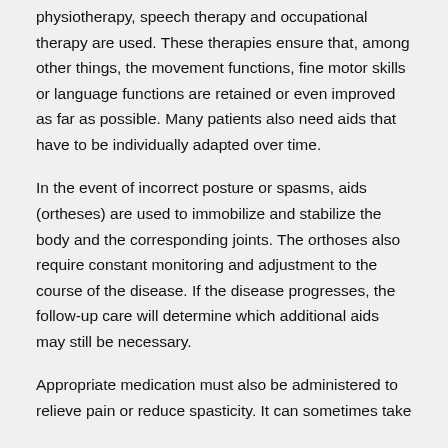physiotherapy, speech therapy and occupational therapy are used. These therapies ensure that, among other things, the movement functions, fine motor skills or language functions are retained or even improved as far as possible. Many patients also need aids that have to be individually adapted over time.
In the event of incorrect posture or spasms, aids (ortheses) are used to immobilize and stabilize the body and the corresponding joints. The orthoses also require constant monitoring and adjustment to the course of the disease. If the disease progresses, the follow-up care will determine which additional aids may still be necessary.
Appropriate medication must also be administered to relieve pain or reduce spasticity. It can sometimes take